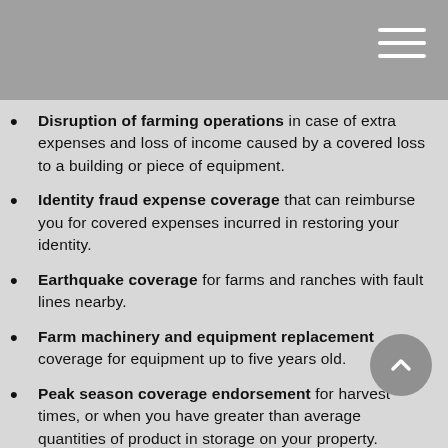Disruption of farming operations in case of extra expenses and loss of income caused by a covered loss to a building or piece of equipment.
Identity fraud expense coverage that can reimburse you for covered expenses incurred in restoring your identity.
Earthquake coverage for farms and ranches with fault lines nearby.
Farm machinery and equipment replacement coverage for equipment up to five years old.
Peak season coverage endorsement for harvest times, or when you have greater than average quantities of product in storage on your property.
Sewer/sump pump backup... just in case.